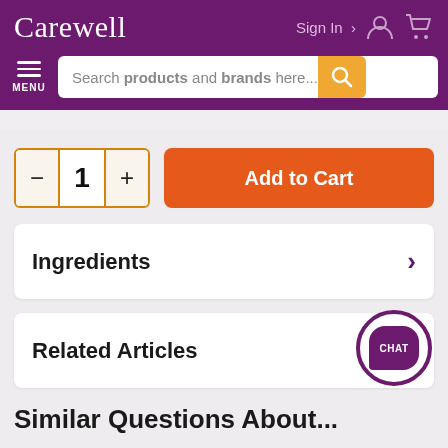Carewell — Sign In — navigation header with search bar for products and brands
- 1 +  Add to Cart
Ingredients
Related Articles
CHAT
Similar Questions About...